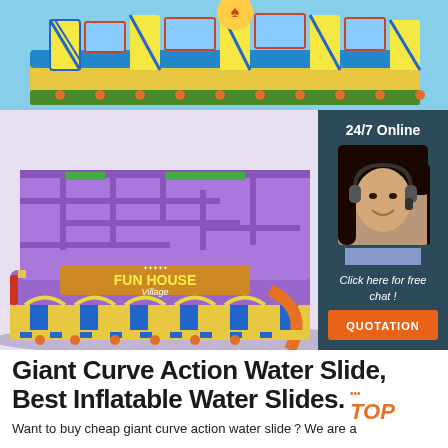[Figure (photo): Colorful large inflatable fun house/amusement structure with yellow and blue striped pillars and decorative elements, viewed from front]
[Figure (photo): Large purple inflatable maze/obstacle course labeled 'Fun House Village' viewed from an angle, with a 24/7 online chat support sidebar showing a woman with headset and a QUOTATION button]
Giant Curve Action Water Slide, Best Inflatable Water Slides. TOP
Want to buy cheap giant curve action water slide？We are a